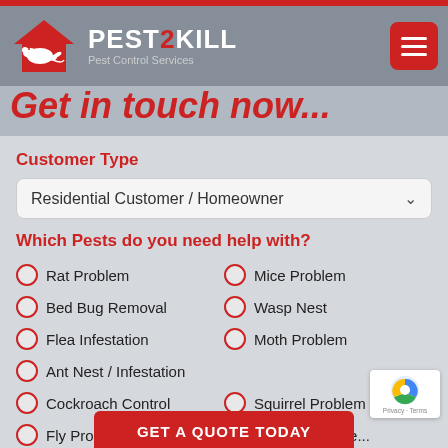PEST2KILL – Pest Control Services
Get in touch now...
Customer Type
Residential Customer / Homeowner
Which Pests do you need help with?
Rat Problem
Mice Problem
Bed Bug Removal
Wasp Nest
Flea Infestation
Moth Problem
Ant Nest / Infestation
Cockroach Control
Squirrel Problem
Fly Problem
Something else...
GET A QUOTE TODAY
[Figure (logo): reCAPTCHA logo with Privacy and Terms text]